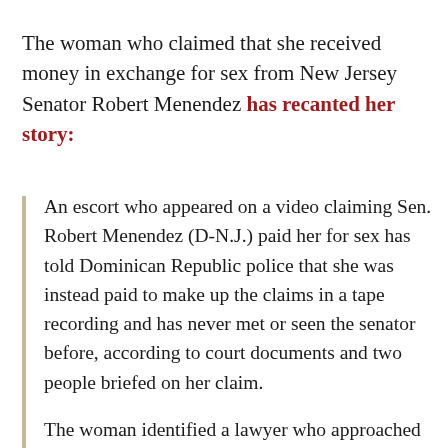The woman who claimed that she received money in exchange for sex from New Jersey Senator Robert Menendez has recanted her story:
An escort who appeared on a video claiming Sen. Robert Menendez (D-N.J.) paid her for sex has told Dominican Republic police that she was instead paid to make up the claims in a tape recording and has never met or seen the senator before, according to court documents and two people briefed on her claim.
The woman identified a lawyer who approached her and a friend to make the videotape, according to affidavits obtained by the Post. That man has in turn identified another lawyer who gave him a script for the tape and paid him to find women to fabricate the claims, the affidavits